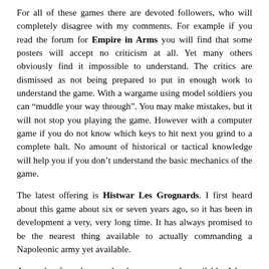For all of these games there are devoted followers, who will completely disagree with my comments. For example if you read the forum for Empire in Arms you will find that some posters will accept no criticism at all. Yet many others obviously find it impossible to understand. The critics are dismissed as not being prepared to put in enough work to understand the game. With a wargame using model soldiers you can “mddle your way through”. You may make mistakes, but it will not stop you playing the game. However with a computer game if you do not know which keys to hit next you grind to a complete halt. No amount of historical or tactical knowledge will help you if you don’t under stand the basic mechanics of the game.
The latest offering is Histwar Les Grognards. I first heard about this game about six or seven years ago, so it has been in development a very, very long time. It has always promised to be the nearest thing available to actually commanding a Napoleonic army yet available.
A couple of weeks ago the demo was made available. I have never used a demo before, but I downloaded it to see how I managed. I could not even get it to start! No doubt this is largely my fault, as others on the forum have done it and played the game. However